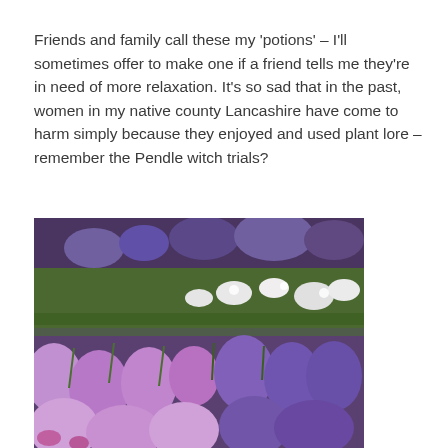Friends and family call these my 'potions' – I'll sometimes offer to make one if a friend tells me they're in need of more relaxation. It's so sad that in the past, women in my native county Lancashire have come to harm simply because they enjoyed and used plant lore – remember the Pendle witch trials?
[Figure (photo): A field of lavender flowers in various shades of purple, violet, and white, growing densely together with green stems visible.]